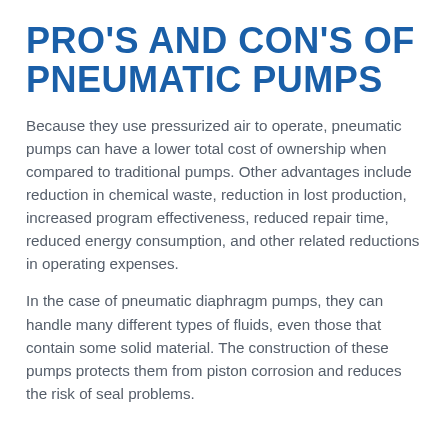PRO'S AND CON'S OF PNEUMATIC PUMPS
Because they use pressurized air to operate, pneumatic pumps can have a lower total cost of ownership when compared to traditional pumps. Other advantages include reduction in chemical waste, reduction in lost production, increased program effectiveness, reduced repair time, reduced energy consumption, and other related reductions in operating expenses.
In the case of pneumatic diaphragm pumps, they can handle many different types of fluids, even those that contain some solid material. The construction of these pumps protects them from piston corrosion and reduces the risk of seal problems.